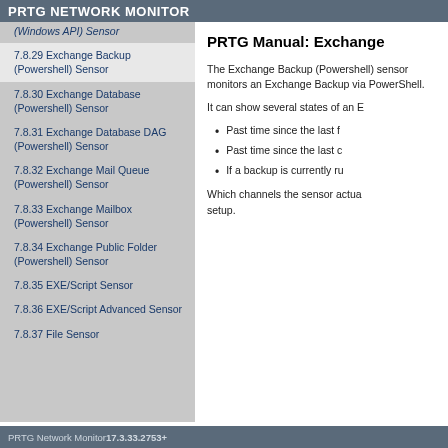PRTG NETWORK MONITOR
(Windows API) Sensor
7.8.29 Exchange Backup (Powershell) Sensor
7.8.30 Exchange Database (Powershell) Sensor
7.8.31 Exchange Database DAG (Powershell) Sensor
7.8.32 Exchange Mail Queue (Powershell) Sensor
7.8.33 Exchange Mailbox (Powershell) Sensor
7.8.34 Exchange Public Folder (Powershell) Sensor
7.8.35 EXE/Script Sensor
7.8.36 EXE/Script Advanced Sensor
7.8.37 File Sensor
PRTG Manual: Exchange Backup (Powershell) Sensor
The Exchange Backup (Powershell) sensor monitors an Exchange Backup via PowerShell.
It can show several states of an Exchange Backup:
Past time since the last full backup
Past time since the last copy backup
If a backup is currently running
Which channels the sensor actually shows might depend on the available settings during setup.
PRTG Network Monitor 17.3.33.2753+